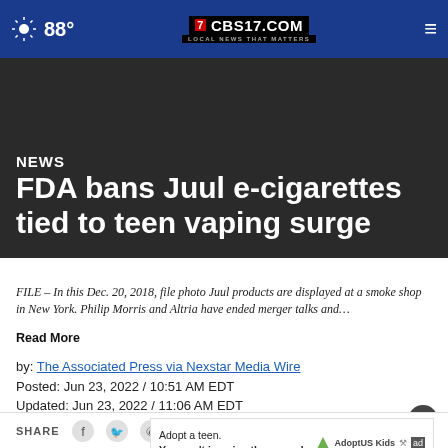88° CBS17.COM LOCAL NEWS THAT MATTERS
NEWS
FDA bans Juul e-cigarettes tied to teen vaping surge
FILE – In this Dec. 20, 2018, file photo Juul products are displayed at a smoke shop in New York. Philip Morris and Altria have ended merger talks and…
Read More
by: The Associated Press via Nexstar Media Wire
Posted: Jun 23, 2022 / 10:51 AM EDT
Updated: Jun 23, 2022 / 11:06 AM EDT
SHARE
Adopt a teen. You can't imagine the reward.